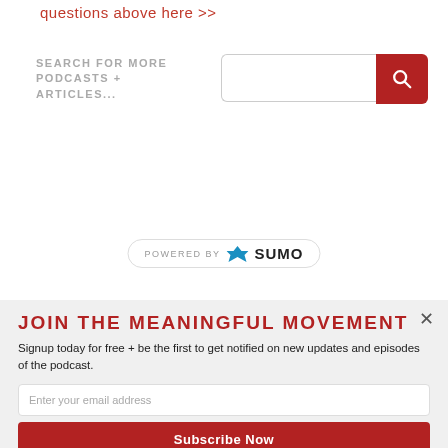questions above here >>
SEARCH FOR MORE PODCASTS + ARTICLES...
[Figure (screenshot): Search input field with red search button on the right]
[Figure (logo): POWERED BY SUMO badge with crown icon]
JOIN THE MEANINGFUL MOVEMENT
Signup today for free + be the first to get notified on new updates and episodes of the podcast.
Enter your email address
Subscribe Now